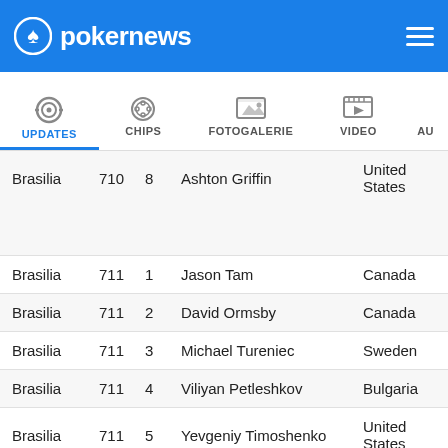pokernews
[Figure (screenshot): Navigation tabs: UPDATES (active, blue underline), CHIPS, FOTOGALERIE, VIDEO, AU(truncated)]
| Location | Num | Seat | Name | Country |
| --- | --- | --- | --- | --- |
| Brasilia | 710 | 8 | Ashton Griffin | United States |
| Brasilia | 711 | 1 | Jason Tam | Canada |
| Brasilia | 711 | 2 | David Ormsby | Canada |
| Brasilia | 711 | 3 | Michael Tureniec | Sweden |
| Brasilia | 711 | 4 | Viliyan Petleshkov | Bulgaria |
| Brasilia | 711 | 5 | Yevgeniy Timoshenko | United States |
| Brasilia | 711 | 6 | DID NOT REPORT 1 | United States |